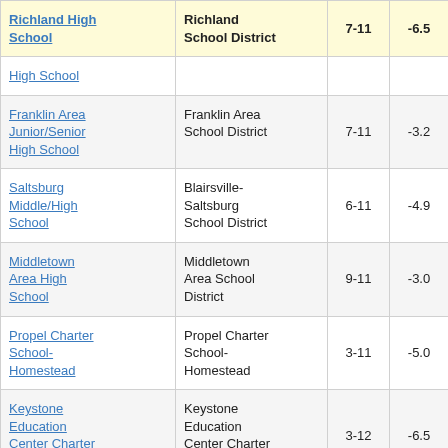| School | District | Grades | Score |  |
| --- | --- | --- | --- | --- |
| Richland High School | Richland School District | 7-11 | -6.5 | 2 |
| High School (partial) |  |  |  |  |
| Franklin Area Junior/Senior High School | Franklin Area School District | 7-11 | -3.2 |  |
| Saltsburg Middle/High School | Blairsville-Saltsburg School District | 6-11 | -4.9 |  |
| Middletown Area High School | Middletown Area School District | 9-11 | -3.0 |  |
| Propel Charter School-Homestead | Propel Charter School-Homestead | 3-11 | -5.0 |  |
| Keystone Education Center Charter School | Keystone Education Center Charter School | 3-12 | -6.5 | 5 |